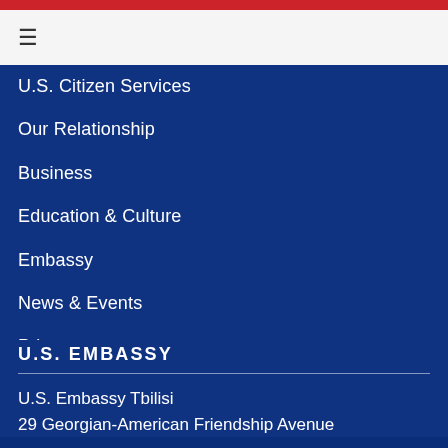U.S. Citizen Services
Our Relationship
Business
Education & Culture
Embassy
News & Events
Privacy
Sitemap
U.S. EMBASSY
U.S. Embassy Tbilisi
29 Georgian-American Friendship Avenue